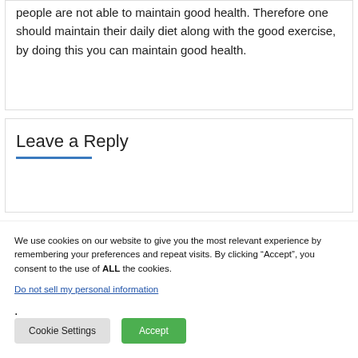people are not able to maintain good health. Therefore one should maintain their daily diet along with the good exercise, by doing this you can maintain good health.
Leave a Reply
We use cookies on our website to give you the most relevant experience by remembering your preferences and repeat visits. By clicking “Accept”, you consent to the use of ALL the cookies.
Do not sell my personal information.